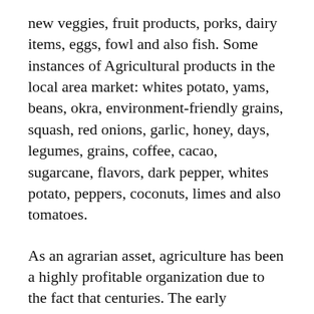new veggies, fruit products, porks, dairy items, eggs, fowl and also fish. Some instances of Agricultural products in the local area market: whites potato, yams, beans, okra, environment-friendly grains, squash, red onions, garlic, honey, days, legumes, grains, coffee, cacao, sugarcane, flavors, dark pepper, whites potato, peppers, coconuts, limes and also tomatoes.
As an agrarian asset, agriculture has been a highly profitable organization due to the fact that centuries. The early Mandarin agrarian asset publication defines how the grain was actually stashed, what functionality it offered, how it was actually saved, exactly how it was actually gathered as well as how it was actually organized market. There were actually also accounts on exactly how farmers decided what kind of agrarian items to offer as well as cultivate to consumers in their